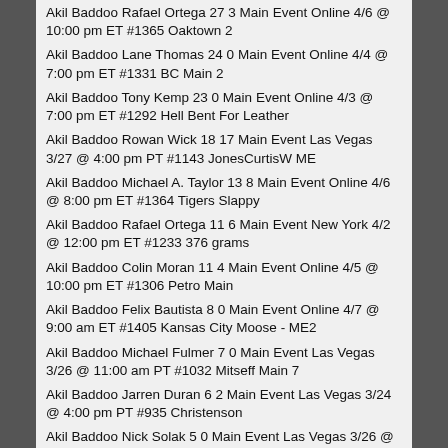Akil Baddoo Rafael Ortega 27 3 Main Event Online 4/6 @ 10:00 pm ET #1365 Oaktown 2
Akil Baddoo Lane Thomas 24 0 Main Event Online 4/4 @ 7:00 pm ET #1331 BC Main 2
Akil Baddoo Tony Kemp 23 0 Main Event Online 4/3 @ 7:00 pm ET #1292 Hell Bent For Leather
Akil Baddoo Rowan Wick 18 17 Main Event Las Vegas 3/27 @ 4:00 pm PT #1143 JonesCurtisW ME
Akil Baddoo Michael A. Taylor 13 8 Main Event Online 4/6 @ 8:00 pm ET #1364 Tigers Slappy
Akil Baddoo Rafael Ortega 11 6 Main Event New York 4/2 @ 12:00 pm ET #1233 376 grams
Akil Baddoo Colin Moran 11 4 Main Event Online 4/5 @ 10:00 pm ET #1306 Petro Main
Akil Baddoo Felix Bautista 8 0 Main Event Online 4/7 @ 9:00 am ET #1405 Kansas City Moose - ME2
Akil Baddoo Michael Fulmer 7 0 Main Event Las Vegas 3/26 @ 11:00 am PT #1032 Mitseff Main 7
Akil Baddoo Jarren Duran 6 2 Main Event Las Vegas 3/24 @ 4:00 pm PT #935 Christenson
Akil Baddoo Nick Solak 5 0 Main Event Las Vegas 3/26 @ 11:00 am PT #1029 North and South
Akil Baddoo Brendan Donovan 5 0 Main Event Online 4/3 @ 7:00 pm ET #1297 KILLEBREW 3 main
Akil Baddoo Yan Gomes 3 0 Main Event Online 3/29 @ 7:00 pm